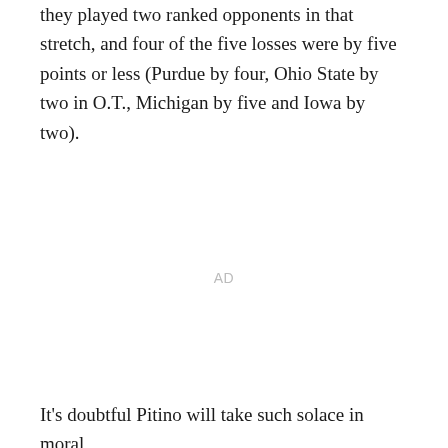they played two ranked opponents in that stretch, and four of the five losses were by five points or less (Purdue by four, Ohio State by two in O.T., Michigan by five and Iowa by two).
AD
It's doubtful Pitino will take such solace in moral